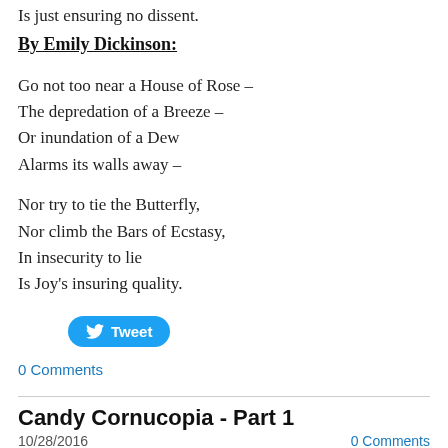Is just ensuring no dissent.
By Emily Dickinson:
Go not too near a House of Rose –
The depredation of a Breeze –
Or inundation of a Dew
Alarms its walls away –
Nor try to tie the Butterfly,
Nor climb the Bars of Ecstasy,
In insecurity to lie
Is Joy's insuring quality.
[Figure (other): Tweet button with Twitter bird icon]
0 Comments
Candy Cornucopia - Part 1
10/28/2016
0 Comments
Everyone knows that Emily Dickinson (Emily Dickinson) at this